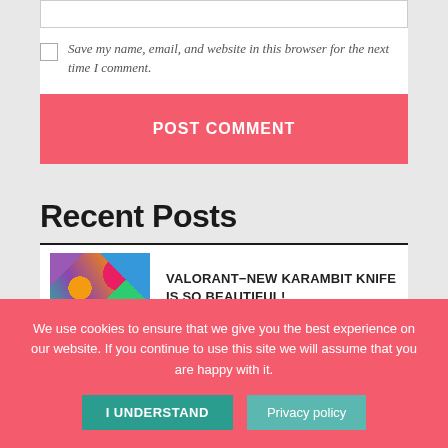Save my name, email, and website in this browser for the next time I comment.
POST COMMENT
Recent Posts
VALORANT-NEW KARAMBIT KNIFE IS SO BEAUTIFUL!
We use cookies to ensure that we give you the best experience on our website. If you continue to use this site we will assume that you are happy with it.
I UNDERSTAND
Privacy policy